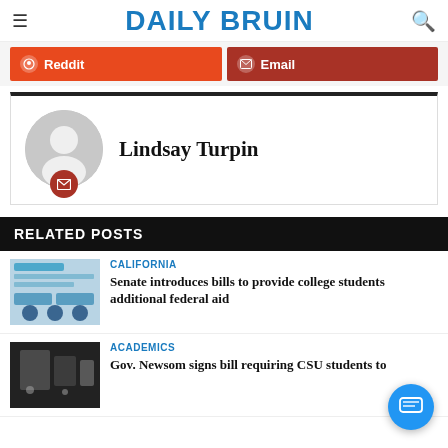DAILY BRUIN
Reddit  Email
Lindsay Turpin
RELATED POSTS
CALIFORNIA
Senate introduces bills to provide college students additional federal aid
ACADEMICS
Gov. Newsom signs bill requiring CSU students to